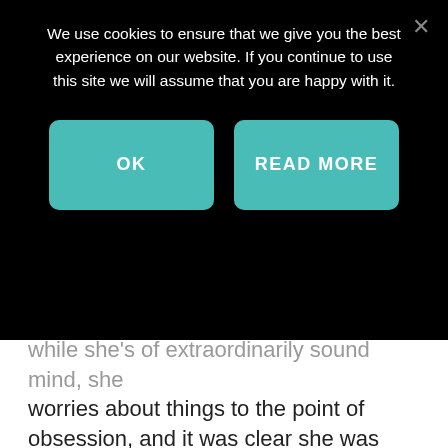[Figure (screenshot): Cookie consent banner overlay on a dark/black background with two teal buttons labeled OK and READ MORE, and a close (×) button in the top right. Text reads: We use cookies to ensure that we give you the best experience on our website. If you continue to use this site we will assume that you are happy with it.]
while she's of extraordinarily sound mind, she worries about things to the point of obsession, and it was clear she was worried about the lost ring.
I asked a few questions to prompt her to remember where she might have left it. All she could recall was taking it off, perhaps to wash the dishes, and putting it down somewhere, reminding herself to get it later, but she couldn't recall where. I knew I would have to stop what I was doing and help her